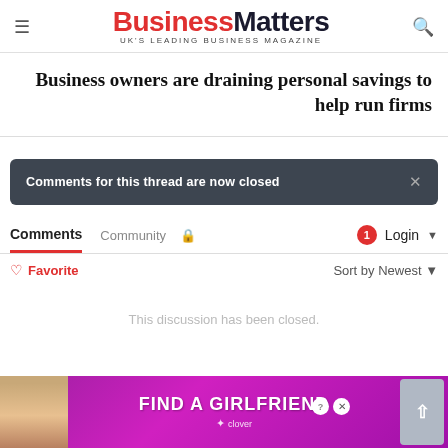Business Matters — UK'S LEADING BUSINESS MAGAZINE
Business owners are draining personal savings to help run firms
Comments for this thread are now closed
Comments  Community  🔒  1  Login ▾
♡ Favorite    Sort by Newest ▾
This discussion has been closed.
[Figure (screenshot): Advertisement banner: FIND A GIRLFRIEND with Clover app logo, purple/pink background with woman image]